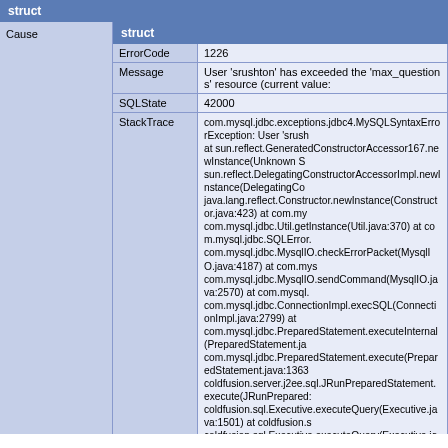struct
Cause
| struct |
| --- |
| ErrorCode | 1226 |
| Message | User 'srushton' has exceeded the 'max_questions' resource (current value: |
| SQLState | 42000 |
| StackTrace | com.mysql.jdbc.exceptions.jdbc4.MySQLSyntaxErrorException: User 'srush at sun.reflect.GeneratedConstructorAccessor167.newInstance(Unknown S sun.reflect.DelegatingConstructorAccessorImpl.newInstance(DelegatingCo java.lang.reflect.Constructor.newInstance(Constructor.java:423) at com.my com.mysql.jdbc.Util.getInstance(Util.java:370) at com.mysql.jdbc.SQLError. com.mysql.jdbc.MysqlIO.checkErrorPacket(MysqlIO.java:4187) at com.mys com.mysql.jdbc.MysqlIO.sendCommand(MysqlIO.java:2570) at com.mysql. com.mysql.jdbc.ConnectionImpl.execSQL(ConnectionImpl.java:2799) at com.mysql.jdbc.PreparedStatement.executeInternal(PreparedStatement.ja com.mysql.jdbc.PreparedStatement.execute(PreparedStatement.java:1363 coldfusion.server.j2ee.sql.JRunPreparedStatement.execute(JRunPrepared: coldfusion.sql.Executive.executeQuery(Executive.java:1501) at coldfusion.s coldfusion.sql.Executive.executeQuery(Executive.java:1165) at coldfusion.s coldfusion.tagext.sql.QueryTag.executeQuery(QueryTag.java:1187) at coldf coldfusion.tagext.sql.QueryTag.doEndTag(QueryTag.java:769) at cfmsds2ecfc1740843999$funcGETDATASHEET.runFunction(D:\home\msd coldfusion.runtime.UDFMethod.invoke(UDFMethod.java:487) at coldfusion. coldfusion.runtime.UDFMethod$ArgumentCollectionFilter.invoke(UDFMeth coldfusion.filter.FunctionAccessFilter.invoke(FunctionAccessFilter.java:95) a at coldfusion.runtime.UDFMethod.invoke(UDFMethod.java:533) at coldfsio coldfusion.runtime.TemplateProxy.invoke(TemplateProxy.java:460) at coldfu cfmsds2ecfm98728972.runPage(D:\home\msdsreport.com\wwwroot\msds. coldfusion.tagext.lang.IncludeTag.handlePageInvoke(IncludeTag.java:736) at coldfusion.filter.CfincludeFilter.invoke(CfincludeFilter.java:65) at coldfusio coldfusion.filter.ApplicationFilter.invoke(ApplicationFilter.java:474) at coldfu coldfusion.filter.MonitoringFilter.invoke(MonitoringFilter.java:40) at coldfusion coldfusion.filter.ExceptionFilter.invoke(ExceptionFilter.java:94) at coldfusion.filter.ClientScopePersistenceFilter.invoke(ClientScopePersistenc coldfusion.filter.BrowserFilter.invoke(BrowserFilter.java:38) at coldfusion.fil coldfusion.filter.GlobalsFilter.invoke(GlobalsFilter.java:38) at coldfusion.filter coldfusion.filter.CachingFilter.invoke(CachingFilter.java:62) at coldfusion.Cf coldfusion.bootstrap.BootstrapServlet.service(BootstrapServlet.java:89) at s sun.reflect.DelegatingMethodAccessorImpl.invoke(DelegatingMethodAcces |